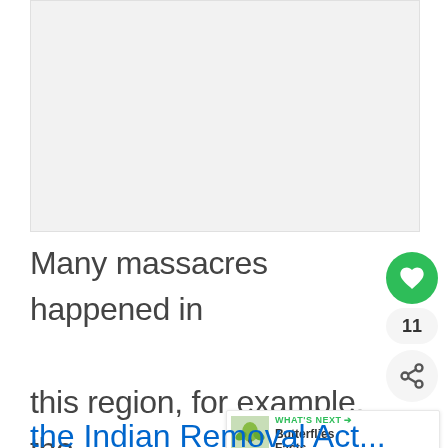[Figure (other): Image placeholder area, light gray background]
Many massacres happened in this region, for example, the Yellow Creek Massacre. . .
WHAT'S NEXT → Butterflies Facts
the Indian Removal Act...